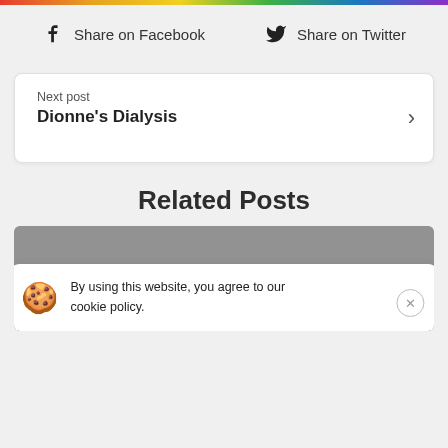Share on Facebook   Share on Twitter
Next post
Dionne's Dialysis
Related Posts
By using this website, you agree to our cookie policy.